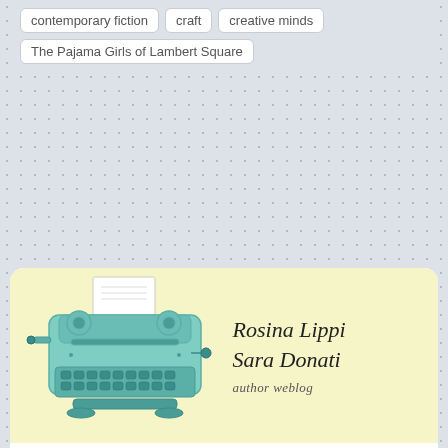contemporary fiction
craft
creative minds
The Pajama Girls of Lambert Square
[Figure (illustration): Author weblog banner with a watercolor-style teal vintage typewriter on a light yellow background, with handwritten-style text reading 'Rosina Lippi Sara Donati author weblog']
You've stumbled across my official website and landed on the front page of my weblog.
My name is Rosina Lippi. I'm a former academic and